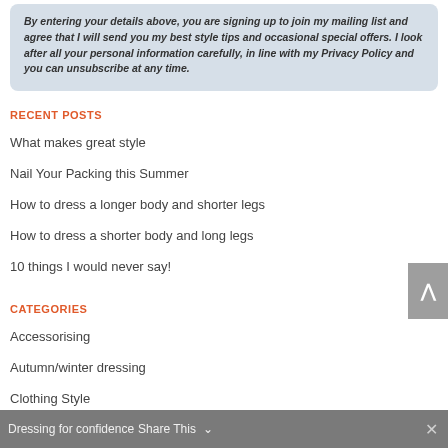By entering your details above, you are signing up to join my mailing list and agree that I will send you my best style tips and occasional special offers. I look after all your personal information carefully, in line with my Privacy Policy and you can unsubscribe at any time.
RECENT POSTS
What makes great style
Nail Your Packing this Summer
How to dress a longer body and shorter legs
How to dress a shorter body and long legs
10 things I would never say!
CATEGORIES
Accessorising
Autumn/winter dressing
Clothing Style
Dressing for confidence  Share This  ∨  ✕